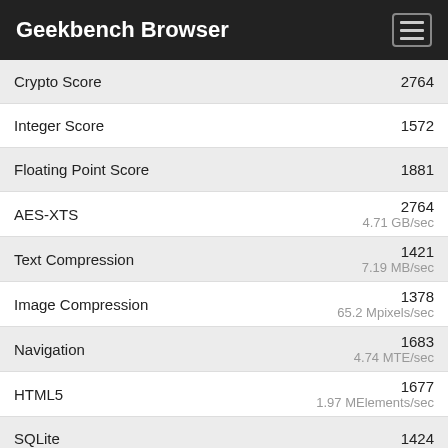Geekbench Browser
| Metric | Score | Detail |
| --- | --- | --- |
| Crypto Score | 2764 |  |
| Integer Score | 1572 |  |
| Floating Point Score | 1881 |  |
| AES-XTS | 2764 | 4.71 GB/sec |
| Text Compression | 1421 | 7.19 MB/sec |
| Image Compression | 1378 | 65.2 Mpixels/sec |
| Navigation | 1683 | 4.74 MTE/sec |
| HTML5 | 1677 | 1.97 MElements/sec |
| SQLite | 1424 |  |